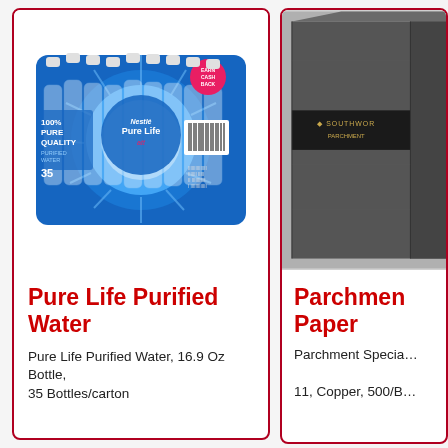[Figure (photo): Nestlé Pure Life 35-pack of 16.9 oz purified water bottles in blue packaging]
Pure Life Purified Water
Pure Life Purified Water, 16.9 Oz Bottle, 35 Bottles/carton
[Figure (photo): Parchment specialty paper box in dark gray/black packaging, partially visible]
Parchment Paper
Parchment Specia... 11, Copper, 500/B...